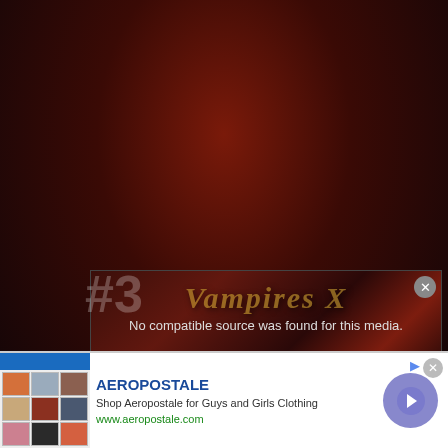[Figure (screenshot): Dark reddish-brown gradient background resembling a video player or media page with dark atmospheric tones]
[Figure (screenshot): Video player overlay showing text 'No compatible source was found for this media.' with a close button, over a stylized background with '#3' and 'Vampires X' text visible]
No compatible source was found for this media.
[Figure (screenshot): Advertisement banner for Aeropostale showing clothing images, brand name, description 'Shop Aeropostale for Guys and Girls Clothing', URL www.aeropostale.com, and a blue arrow button]